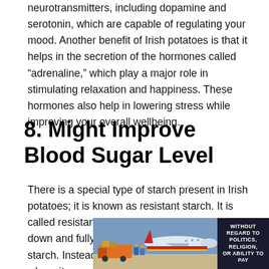neurotransmitters, including dopamine and serotonin, which are capable of regulating your mood. Another benefit of Irish potatoes is that it helps in the secretion of the hormones called “adrenaline,” which play a major role in stimulating relaxation and happiness. These hormones also help in lowering stress while improving your overall wellbeing.
8. Might Improve Blood Sugar Level
There is a special type of starch present in Irish potatoes; it is known as resistant starch. It is called resistant starch because it is not broken down and fully absorbed by the body like other starch. Instead, it goes to the large intestine where it serves as a source of nutrients for the beneficial bacteria in
[Figure (photo): Advertisement banner showing an airplane on a tarmac with cargo being loaded, with text reading 'WITHOUT REGARD TO POLITICS, RELIGION, OR ABILITY TO PAY' on a dark background.]